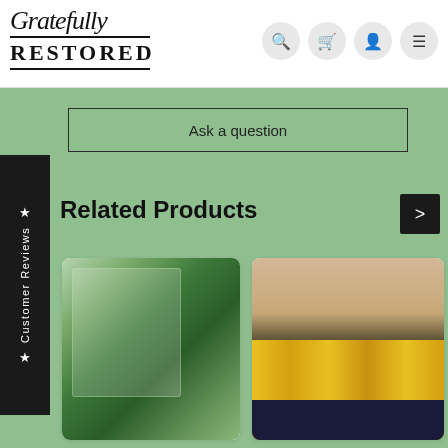Gratefully RESTORED
Ask a question
Customer Reviews
Related Products
[Figure (photo): White furniture piece decorated with botanical/plant illustrations, surrounded by green plants]
[Figure (photo): Dark furniture piece decorated with sunflower illustrations on a beige/tan background]